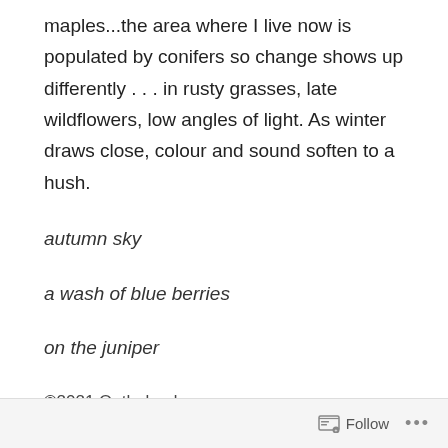maples...the area where I live now is populated by conifers so change shows up differently . . . in rusty grasses, late wildflowers, low angles of light. As winter draws close, colour and sound soften to a hush.
autumn sky
a wash of blue berries
on the juniper
©2021 Ontheland
Follow ...